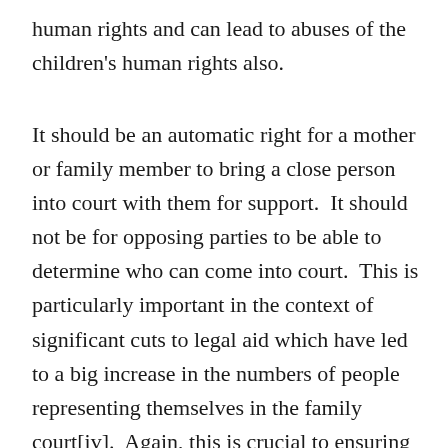human rights and can lead to abuses of the children's human rights also.
It should be an automatic right for a mother or family member to bring a close person into court with them for support.  It should not be for opposing parties to be able to determine who can come into court.  This is particularly important in the context of significant cuts to legal aid which have led to a big increase in the numbers of people representing themselves in the family court[iv].  Again, this is crucial to ensuring that mothers have support in fighting for their children at a time when they are particularly vulnerable and